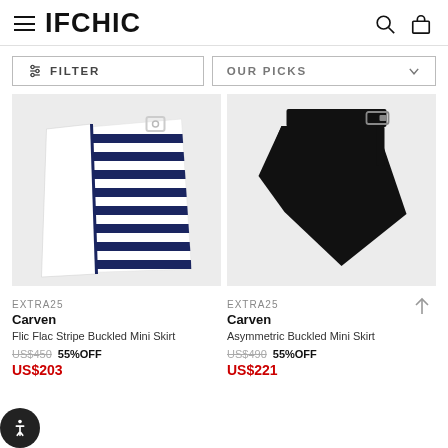IFCHIC
FILTER
OUR PICKS
[Figure (photo): Flic Flac Stripe Buckled Mini Skirt by Carven — white and navy horizontal stripe wrap mini skirt with buckle detail, on a light grey background]
[Figure (photo): Asymmetric Buckled Mini Skirt by Carven — black asymmetric knit mini skirt with buckle detail, on a light grey background]
EXTRA25
Carven
Flic Flac Stripe Buckled Mini Skirt
US$450  55%OFF
US$203
EXTRA25
Carven
Asymmetric Buckled Mini Skirt
US$490  55%OFF
US$221